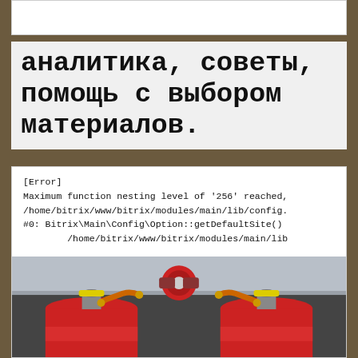аналитика, советы, помощь с выбором материалов.
[Error]
Maximum function nesting level of '256' reached,
/home/bitrix/www/bitrix/modules/main/lib/config.
#0: Bitrix\Main\Config\Option::getDefaultSite()
        /home/bitrix/www/bitrix/modules/main/lib
[Figure (photo): Photo of two red gas cylinders connected via orange hoses to a central pressure regulator mounted on a metallic wall panel.]